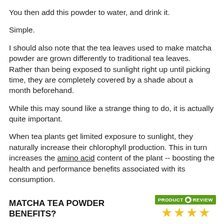You then add this powder to water, and drink it.
Simple.
I should also note that the tea leaves used to make matcha powder are grown differently to traditional tea leaves. Rather than being exposed to sunlight right up until picking time, they are completely covered by a shade about a month beforehand.
While this may sound like a strange thing to do, it is actually quite important.
When tea plants get limited exposure to sunlight, they naturally increase their chlorophyll production. This in turn increases the amino acid content of the plant -- boosting the health and performance benefits associated with its consumption.
MATCHA TEA POWDER BENEFITS?
[Figure (logo): Product Review badge with green background showing PRODUCT REVIEW text with circular icon, and four gold stars below]